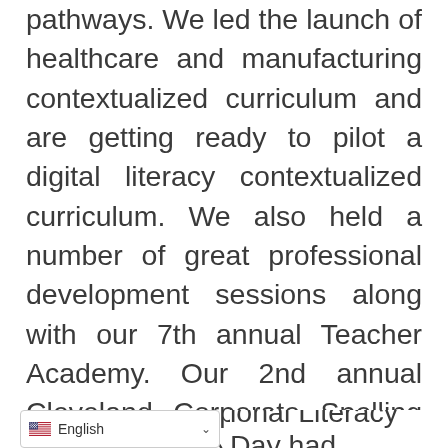pathways. We led the launch of healthcare and manufacturing contextualized curriculum and are getting ready to pilot a digital literacy contextualized curriculum. We also held a number of great professional development sessions along with our 7th annual Teacher Academy. Our 2nd annual Cleveland Corporate Spelling Bee (CLE-BEE) was a fantastic night of friendly competition and raising awareness about the importance of literacy. Our social media campaigns for Read Across America ional Literacy Day had